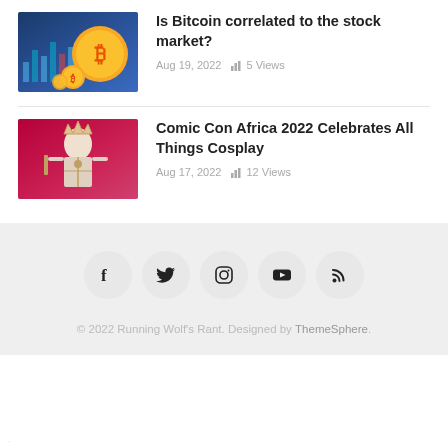[Figure (photo): Bitcoin gold coin on dark blue stock chart background]
Is Bitcoin correlated to the stock market?
Aug 19, 2022    5 Views
[Figure (photo): Comic Con Africa 2022 cosplay character artwork on red background]
Comic Con Africa 2022 Celebrates All Things Cosplay
Aug 17, 2022    12 Views
© 2022 Running Wolf's Rant. Designed by ThemeSphere.